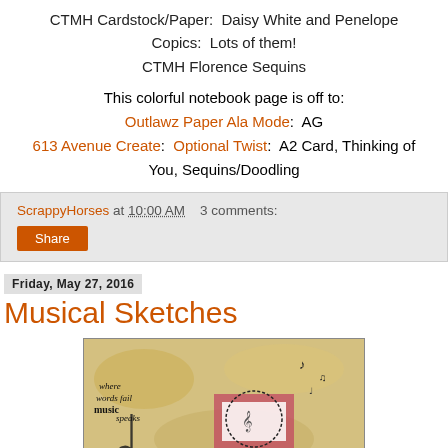CTMH Cardstock/Paper:  Daisy White and Penelope
Copics:  Lots of them!
CTMH Florence Sequins
This colorful notebook page is off to:
Outlawz Paper Ala Mode:  AG
613 Avenue Create:  Optional Twist:  A2 Card, Thinking of You, Sequins/Doodling
ScrappyHorses at 10:00 AM   3 comments:
Share
Friday, May 27, 2016
Musical Sketches
[Figure (photo): Artwork/card with musical theme, text reading 'where words fail music speaks', with musical notes and decorative elements on a textured background]